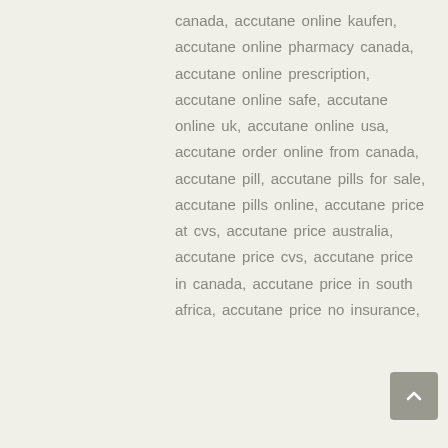canada, accutane online kaufen, accutane online pharmacy canada, accutane online prescription, accutane online safe, accutane online uk, accutane online usa, accutane order online from canada, accutane pill, accutane pills for sale, accutane pills online, accutane price at cvs, accutane price australia, accutane price cvs, accutane price in canada, accutane price in south africa, accutane price no insurance,